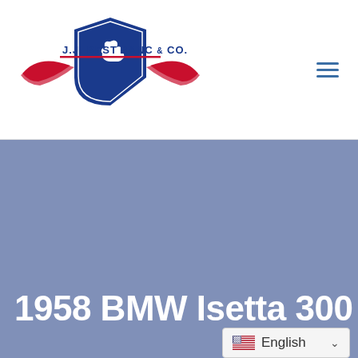[Figure (logo): J.J. Best Banc & Co. logo with blue shield, red wings, and text]
[Figure (other): Hamburger menu icon (three horizontal lines in blue)]
1958 BMW Isetta 300
English (language selector with US flag and dropdown chevron)